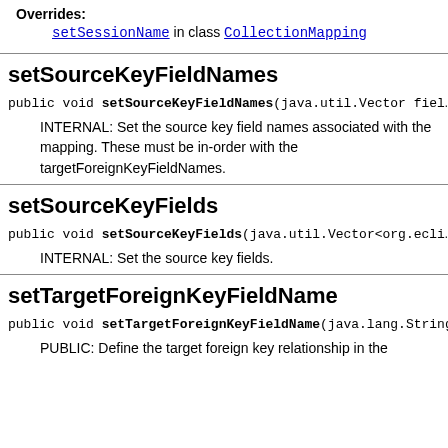Overrides: setSessionName in class CollectionMapping
setSourceKeyFieldNames
public void setSourceKeyFieldNames(java.util.Vector fiel…
INTERNAL: Set the source key field names associated with the mapping. These must be in-order with the targetForeignKeyFieldNames.
setSourceKeyFields
public void setSourceKeyFields(java.util.Vector<org.ecli…
INTERNAL: Set the source key fields.
setTargetForeignKeyFieldName
public void setTargetForeignKeyFieldName(java.lang.String…
PUBLIC: Define the target foreign key relationship in the